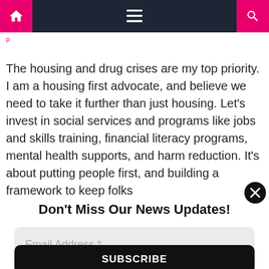Navigation bar with home, menu, and search icons
The housing and drug crises are my top priority. I am a housing first advocate, and believe we need to take it further than just housing. Let’s invest in social services and programs like jobs and skills training, financial literacy programs, mental health supports, and harm reduction. It’s about putting people first, and building a framework to keep folks
Don’t Miss Our News Updates!
Email Address *
SUBSCRIBE